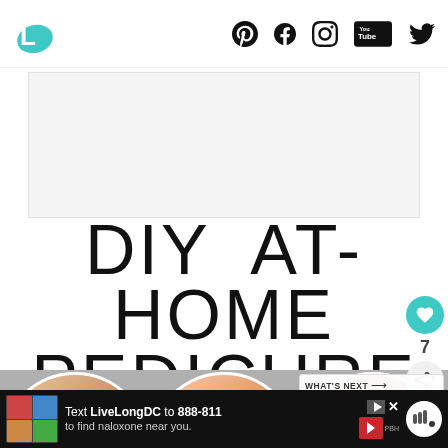L logo and social icons: Pinterest, Facebook, Instagram, YouTube, Twitter
[Figure (illustration): Gray advertisement placeholder rectangle]
DIY AT-HOME PEDICURE
[Figure (photo): Three circular photos showing pedicure steps: nail polish application, feet with toe separators, foot massage]
[Figure (infographic): WHAT'S NEXT panel: Best Tips on How to Get...]
[Figure (infographic): Bottom advertisement banner: Text LiveLongDC to 888-811 to find naloxone near you]